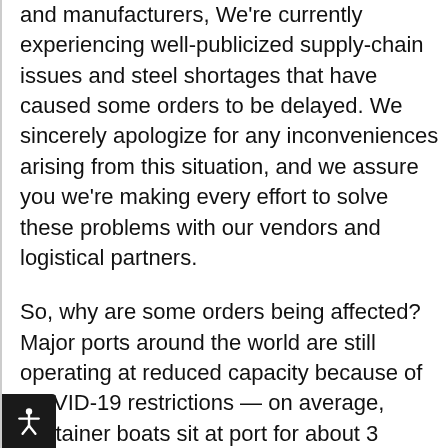and manufacturers, We're currently experiencing well-publicized supply-chain issues and steel shortages that have caused some orders to be delayed. We sincerely apologize for any inconveniences arising from this situation, and we assure you we're making every effort to solve these problems with our vendors and logistical partners.
So, why are some orders being affected? Major ports around the world are still operating at reduced capacity because of COVID-19 restrictions — on average, container boats sit at port for about 3 weeks before being unloaded. Combine these shipping inefficiencies with a scarcity of natural resources, and virtually every industry has been crippled to some degree. Yet we acknowledge that it's our duty to meet these challenges head-on and work toward solutions